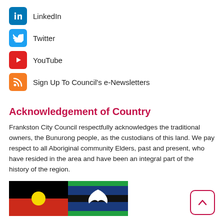LinkedIn
Twitter
YouTube
Sign Up To Council's e-Newsletters
Acknowledgement of Country
Frankston City Council respectfully acknowledges the traditional owners, the Bunurong people, as the custodians of this land. We pay respect to all Aboriginal community Elders, past and present, who have resided in the area and have been an integral part of the history of the region.
[Figure (illustration): Australian Aboriginal Flag (black top half, red bottom half, yellow circle in centre) and Torres Strait Islander Flag (blue with green stripes top and bottom, black centre stripe, white dhari headdress with star)]
[Figure (other): Back to top button — rounded square with upward caret arrow, pink/red border]